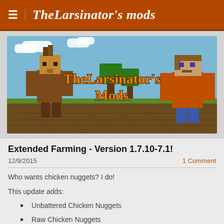TheLarsinator's mods
[Figure (illustration): Minecraft-themed banner image showing two blocky characters (a villager-like figure and a player character) in a farm landscape with text 'TheLarsinator's Mods' in orange blocky font]
Extended Farming - Version 1.7.10-7.1!
12/9/2015
1 Comment
Who wants chicken nuggets? I do!
This update adds:
Unbattered Chicken Nuggets
Raw Chicken Nuggets
Chicken Nuggets